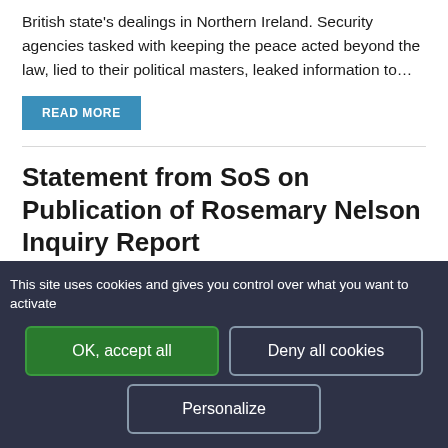British state's dealings in Northern Ireland. Security agencies tasked with keeping the peace acted beyond the law, lied to their political masters, leaked information to…
READ MORE
Statement from SoS on Publication of Rosemary Nelson Inquiry Report
The Secretary of State for Northern Ireland (Owen Paterson) | 05 April 2011
This site uses cookies and gives you control over what you want to activate
OK, accept all
Deny all cookies
Personalize